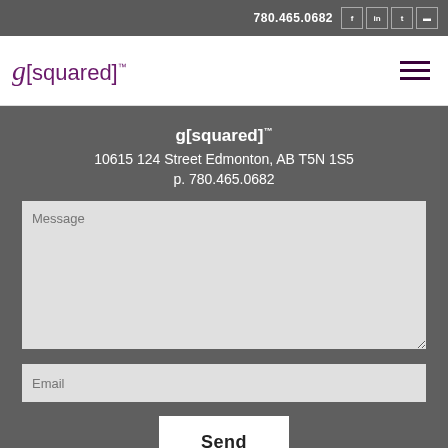780.465.0682
g[squared]™
10615 124 Street Edmonton, AB T5N 1S5
p. 780.465.0682
Message
Email
Send